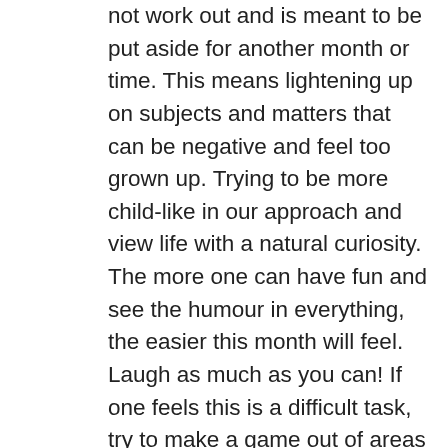not work out and is meant to be put aside for another month or time. This means lightening up on subjects and matters that can be negative and feel too grown up. Trying to be more child-like in our approach and view life with a natural curiosity. The more one can have fun and see the humour in everything, the easier this month will feel. Laugh as much as you can! If one feels this is a difficult task, try to make a game out of areas in your life that are mundane and necessary. Make time to play everyday, from dancing in your room to singing in your car to doing a hobby or activity that is pleasurable. The #3 is represented by children, so there may be a focus on all matters and subjects related to them and areas from one's childhood: examples are toys, traditions, activities related to childhood may be popular, talked about and shared. Stories and events related to children and childhood are frequent. It is also a month where socializing will